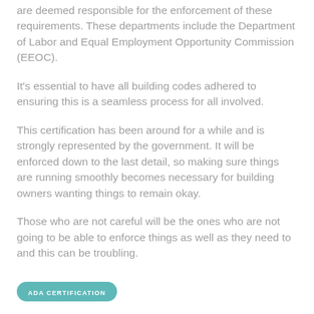are deemed responsible for the enforcement of these requirements. These departments include the Department of Labor and Equal Employment Opportunity Commission (EEOC).
It's essential to have all building codes adhered to ensuring this is a seamless process for all involved.
This certification has been around for a while and is strongly represented by the government. It will be enforced down to the last detail, so making sure things are running smoothly becomes necessary for building owners wanting things to remain okay.
Those who are not careful will be the ones who are not going to be able to enforce things as well as they need to and this can be troubling.
ADA CERTIFICATION